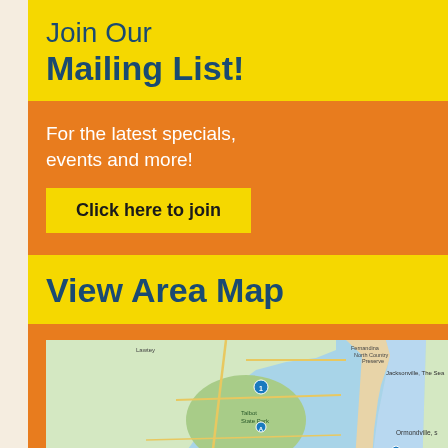Join Our Mailing List!
For the latest specials, events and more! Click here to join
View Area Map
[Figure (map): Area map showing a coastal region with barrier island, intracoastal waterway, state park, and road network. Labels include Fernandina North Country Preserve, Jacksonville The Sea, Talbot State Park, Ormondville, Fernandine, Hilly Hill, Daytona Bus Beach.]